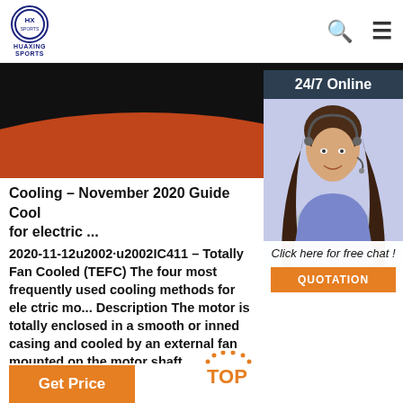HUAXING SPORTS
[Figure (screenshot): Website screenshot showing a sports equipment or industrial equipment product page with orange and black banner, 24/7 online chat widget with female agent photo, and product text about electric motor cooling.]
Cooling – November 2020 Guide Cool for electric ...
2020-11-12u2002·u2002IC411 – Totally Fan Cooled (TEFC) The four most frequently used cooling methods for ele ctric mo... Description The motor is totally enclosed in a smooth or inned casing and cooled by an external fan mounted on the motor shaft. Applications This is by far the most common of all cooling methods and is used as standard for wide ...